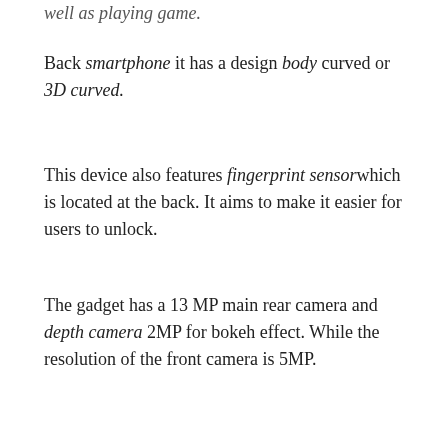well as playing game.
Back smartphone it has a design body curved or 3D curved.
This device also features fingerprint sensor which is located at the back. It aims to make it easier for users to unlock.
The gadget has a 13 MP main rear camera and depth camera 2MP for bokeh effect. While the resolution of the front camera is 5MP.